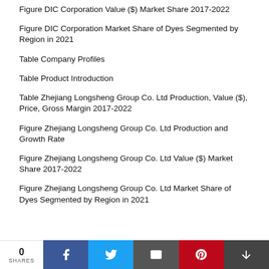Figure DIC Corporation Value ($) Market Share 2017-2022
Figure DIC Corporation Market Share of Dyes Segmented by Region in 2021
Table Company Profiles
Table Product Introduction
Table Zhejiang Longsheng Group Co. Ltd Production, Value ($), Price, Gross Margin 2017-2022
Figure Zhejiang Longsheng Group Co. Ltd Production and Growth Rate
Figure Zhejiang Longsheng Group Co. Ltd Value ($) Market Share 2017-2022
Figure Zhejiang Longsheng Group Co. Ltd Market Share of Dyes Segmented by Region in 2021
0 SHARES